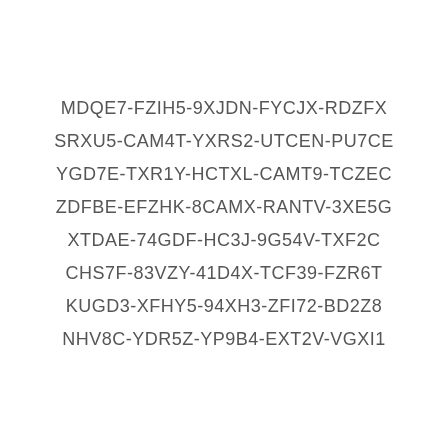MDQE7-FZIH5-9XJDN-FYCJX-RDZFX
SRXU5-CAM4T-YXRS2-UTCEN-PU7CE
YGD7E-TXR1Y-HCTXL-CAMT9-TCZEC
ZDFBE-EFZHK-8CAMX-RANTV-3XE5G
XTDAE-74GDF-HC3J-9G54V-TXF2C
CHS7F-83VZY-41D4X-TCF39-FZR6T
KUGD3-XFHY5-94XH3-ZFI72-BD2Z8
NHV8C-YDR5Z-YP9B4-EXT2V-VGXI1